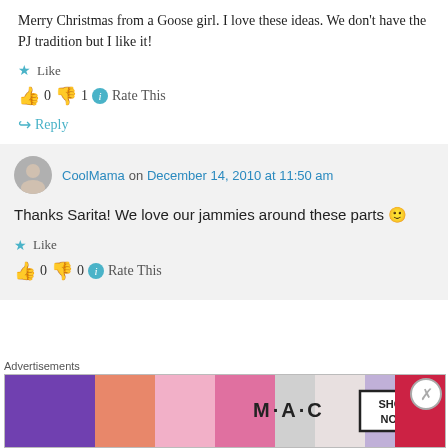Merry Christmas from a Goose girl. I love these ideas. We don't have the PJ tradition but I like it!
★ Like
👍 0 👎 1 ℹ Rate This
↳ Reply
CoolMama on December 14, 2010 at 11:50 am
Thanks Sarita! We love our jammies around these parts 🙂
★ Like
👍 0 👎 0 ℹ Rate This
Advertisements
[Figure (photo): MAC cosmetics advertisement showing lipsticks with SHOP NOW button]